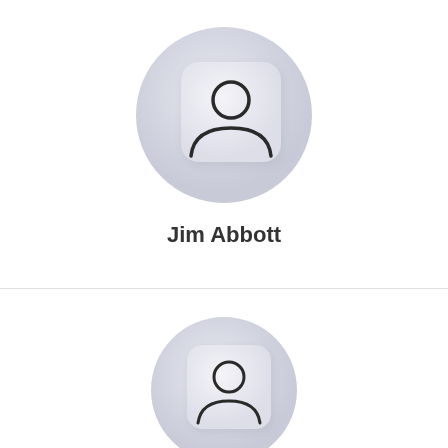[Figure (illustration): User profile avatar icon: a circular gradient button with a rounded square card inside containing a person silhouette icon (head circle + shoulders arc). Top entry for Jim Abbott.]
Jim Abbott
[Figure (illustration): User profile avatar icon: a circular gradient button with a rounded square card inside containing a person silhouette icon (head circle + shoulders arc). Second entry, partially visible at bottom.]